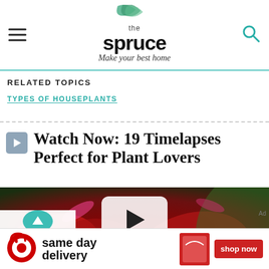[Figure (logo): The Spruce logo with leaf illustration and tagline 'Make your best home']
RELATED TOPICS
TYPES OF HOUSEPLANTS
Watch Now: 19 Timelapses Perfect for Plant Lovers
[Figure (photo): Video thumbnail showing close-up of red flower petals with a play button overlay]
[Figure (infographic): Back to Top button with teal circle and upward arrow]
[Figure (infographic): Target advertisement banner: same day delivery, shop now]